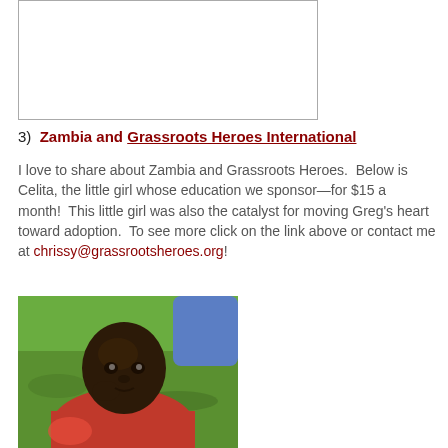[Figure (other): Empty white bordered box (placeholder image area)]
3)  Zambia and Grassroots Heroes International
I love to share about Zambia and Grassroots Heroes.  Below is Celita, the little girl whose education we sponsor—for $15 a month!  This little girl was also the catalyst for moving Greg's heart toward adoption.  To see more click on the link above or contact me at chrissy@grassrootsheroes.org!
[Figure (photo): Photo of Celita, a young girl from Zambia, lying on grass wearing a red sweater, looking toward the camera]